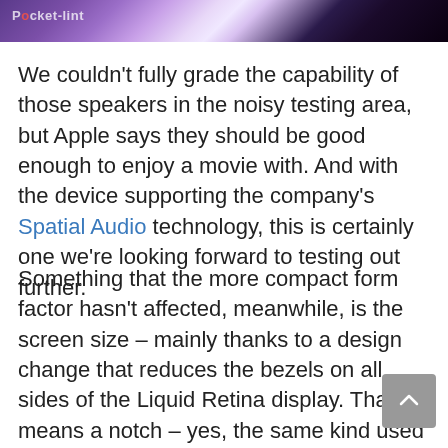[Figure (photo): Purple and white abstract wavy banner image with Pocket-lint logo in top-left corner]
We couldn't fully grade the capability of those speakers in the noisy testing area, but Apple says they should be good enough to enjoy a movie with. And with the device supporting the company's Spatial Audio technology, this is certainly one we're looking forward to testing out further.
Something that the more compact form factor hasn't affected, meanwhile, is the screen size – mainly thanks to a design change that reduces the bezels on all sides of the Liquid Retina display. That means a notch – yes, the same kind used with the MacBook Pro – is now used to house the new 1080p camera.